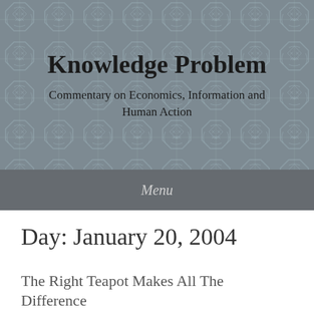Knowledge Problem
Commentary on Economics, Information and Human Action
Menu
Day: January 20, 2004
The Right Teapot Makes All The Difference